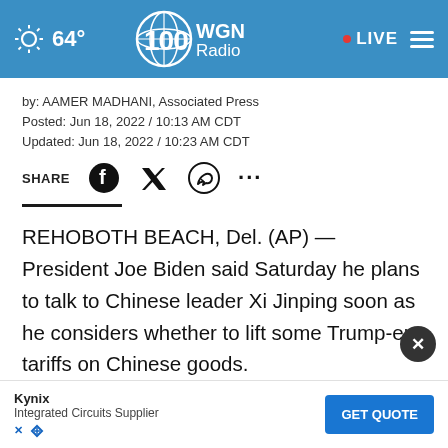64° WGN Radio • LIVE
by: AAMER MADHANI, Associated Press
Posted: Jun 18, 2022 / 10:13 AM CDT
Updated: Jun 18, 2022 / 10:23 AM CDT
SHARE
REHOBOTH BEACH, Del. (AP) — President Joe Biden said Saturday he plans to talk to Chinese leader Xi Jinping soon as he considers whether to lift some Trump-era tariffs on Chinese goods.
Biden did not say when they might speak, but suggested...decision
[Figure (screenshot): Kynix Integrated Circuits Supplier advertisement with GET QUOTE button]